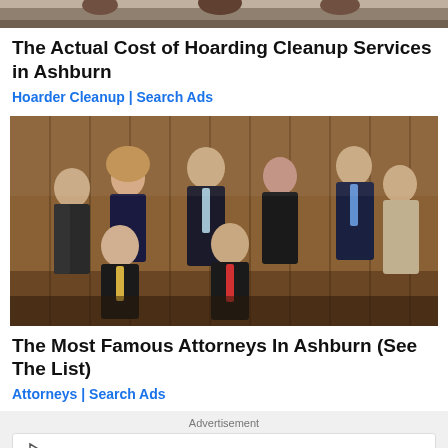[Figure (photo): Partial top image, cropped — appears to show people, mostly cut off]
The Actual Cost of Hoarding Cleanup Services in Ashburn
Hoarder Cleanup | Search Ads
[Figure (photo): Group photo of eight attorneys (men and women) in professional attire seated and standing in front of a wood-paneled wall]
The Most Famous Attorneys In Ashburn (See The List)
Attorneys | Search Ads
Advertisement
Award-Winning Customer Service - 3,700+ Bitcoin ATMs!